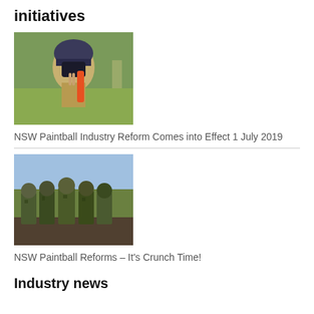initiatives
[Figure (photo): Person in military-style gear and helmet holding an orange paintball gun, making a peace sign, outdoors on grass]
NSW Paintball Industry Reform Comes into Effect 1 July 2019
[Figure (photo): Group of five people in camouflage military gear standing together outdoors, likely paintball players]
NSW Paintball Reforms – It's Crunch Time!
Industry news